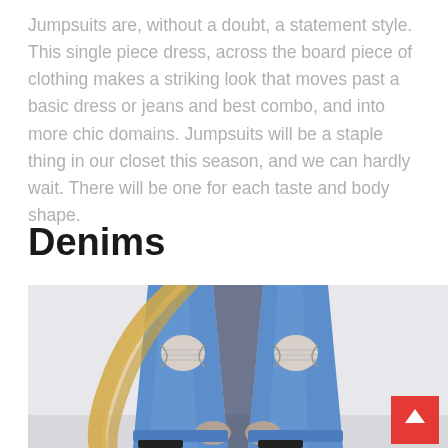Jumpsuits are, without a doubt, a statement style. This single piece dress, across the board piece of clothing makes a striking look that moves past a basic dress or jeans and best combo, and into more chic domains. Jumpsuits will be a staple thing in our closet this season, and we can hardly wait. There will be one for each taste and body shape.
Denims
[Figure (photo): A person wearing ripped blue denim jeans, photographed from the waist down, bending forward. The background is light/white. A red back-to-top button is visible in the bottom right corner.]